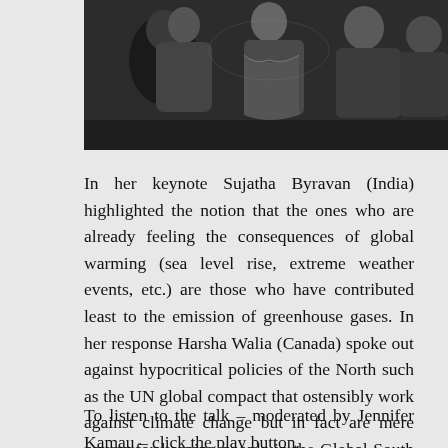[Figure (photo): Black and white photograph of people seated at what appears to be a conference or panel discussion]
In her keynote Sujatha Byravan (India) highlighted the notion that the ones who are already feeling the consequences of global warming (sea level rise, extreme weather events, etc.) are those who have contributed least to the emission of greenhouse gases. In her response Harsha Walia (Canada) spoke out against hypocritical policies of the North such as the UN global compact that ostensibly work against climate change but in fact are mere covers for keeping people in the Global South or forcing them into labor migration. The closing discussion of the conference showed that climate justice means addressing the connectedness of climate displacement with all forms of migration.
To listen to the talk – moderated by Jennifer Kamau – click the play button.